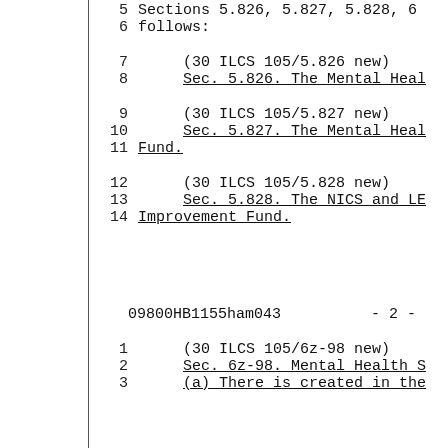5   Sections 5.826, 5.827, 5.828, 6
6   follows:
7       (30 ILCS 105/5.826 new)
8       Sec. 5.826. The Mental Heal
9       (30 ILCS 105/5.827 new)
10      Sec. 5.827. The Mental Heal
11  Fund.
12      (30 ILCS 105/5.828 new)
13      Sec. 5.828. The NICS and LE
14  Improvement Fund.
09800HB1155ham043          - 2 -
1       (30 ILCS 105/6z-98 new)
2       Sec. 6z-98. Mental Health S
3       (a) There is created in the